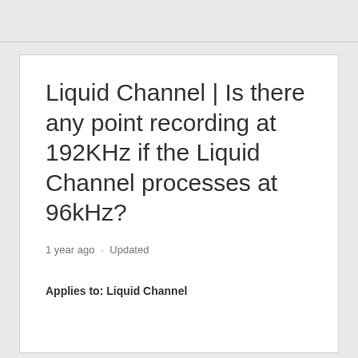Liquid Channel | Is there any point recording at 192KHz if the Liquid Channel processes at 96kHz?
1 year ago · Updated
Applies to: Liquid Channel